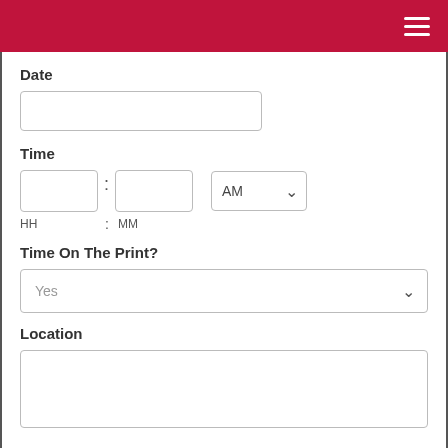[Figure (screenshot): Red navigation header bar with hamburger menu icon (three white horizontal lines) in top right corner]
Date
Date input text field (empty)
Time
Time input fields: HH text box, MM text box, AM dropdown selector
HH : MM
Time On The Print?
Yes dropdown selector
Location
Location textarea (empty)